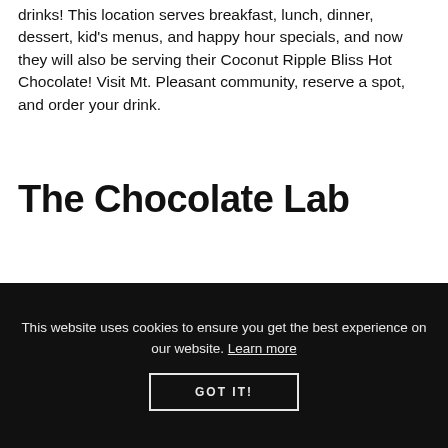drinks! This location serves breakfast, lunch, dinner, dessert, kid's menus, and happy hour specials, and now they will also be serving their Coconut Ripple Bliss Hot Chocolate! Visit Mt. Pleasant community, reserve a spot, and order your drink.
The Chocolate Lab
This website uses cookies to ensure you get the best experience on our website. Learn more
GOT IT!